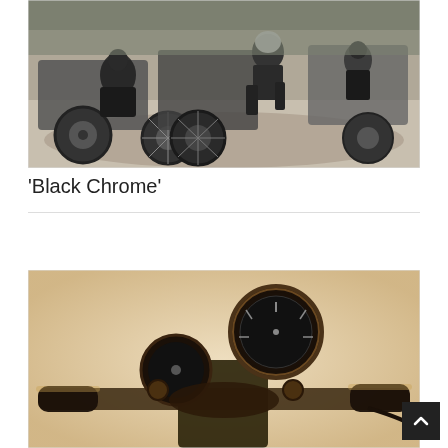[Figure (photo): Black and white photograph of motorcycles and people seated on them outdoors on sandy ground]
‘Black Chrome’
[Figure (photo): Sepia-toned close-up photograph of motorcycle handlebars and instruments including a circular speedometer/gauge]